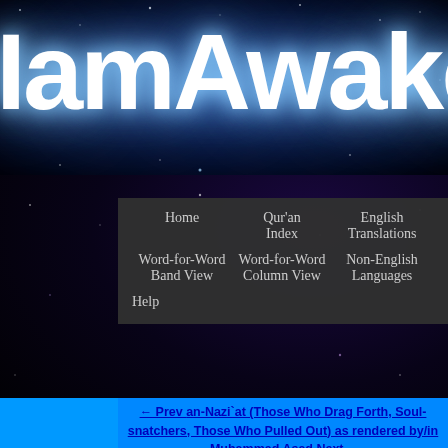[Figure (logo): IslamAwakened website logo banner — large white glowing text 'IamAwakene' (partially visible) on dark blue starfield background]
Home | Qur'an Index | English Translations | Word-for-Word Band View | Word-for-Word Column View | Non-English Languages | Help
← Prev  an-Nazi`at (Those Who Drag Forth, Soul-snatchers, Those Who Pulled Out) as rendered by/in Muhammad Asad  Next →
79:1  CONSIDER those [stars] that rise only to set
79:2  and move [in their orbits] with steady motion
79:3  and float [through space] with floating serene
79:4  and yet overtake [one another] with swift overtaking
79:5  and thus they fulfil the [Creator's] behest